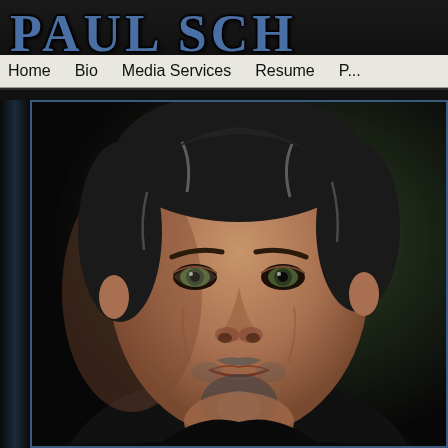PAUL SCH
Home   Bio   Media Services   Resume   P...
[Figure (photo): Professional headshot of a middle-aged man with dark salt-and-pepper hair, green eyes, goatee, wearing a black shirt, against a dark bokeh background.]